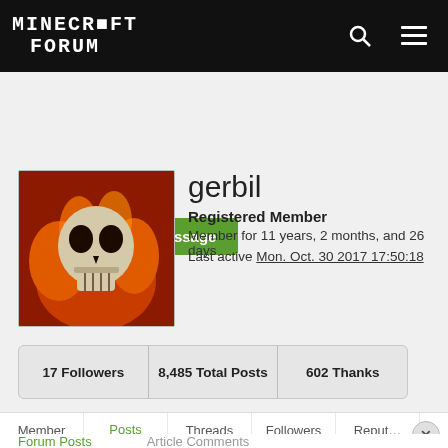MINECRAFT FORUM
Send Private Message
[Figure (photo): User avatar showing a skull with fire/flames background]
gerbil
Registered Member
Member for 11 years, 2 months, and 26 days
Last active Mon. Oct. 30 2017 17:50:18
| 17 Followers | 8,485 Total Posts | 602 Thanks |
| --- | --- | --- |
Member | Posts | Threads | Followers | Reput…
Forum Posts | Article Comments